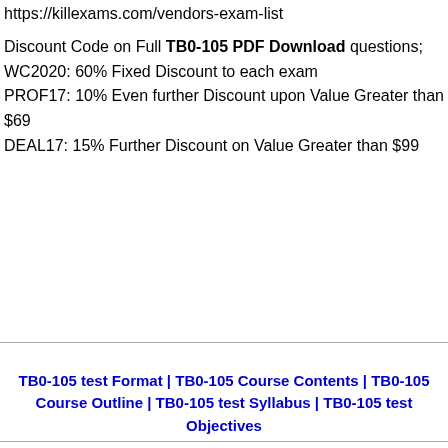https://killexams.com/vendors-exam-list
Discount Code on Full TB0-105 PDF Download questions; WC2020: 60% Fixed Discount to each exam PROF17: 10% Even further Discount upon Value Greater than $69 DEAL17: 15% Further Discount on Value Greater than $99
TB0-105 test Format | TB0-105 Course Contents | TB0-105 Course Outline | TB0-105 test Syllabus | TB0-105 test Objectives